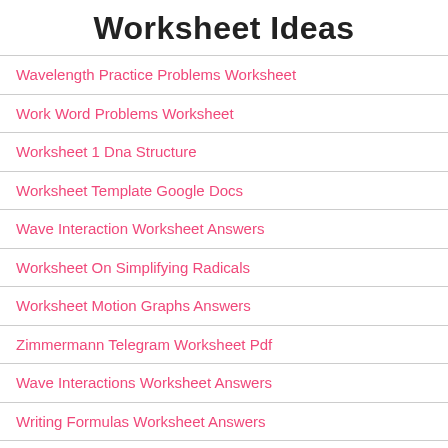Worksheet Ideas
Wavelength Practice Problems Worksheet
Work Word Problems Worksheet
Worksheet 1 Dna Structure
Worksheet Template Google Docs
Wave Interaction Worksheet Answers
Worksheet On Simplifying Radicals
Worksheet Motion Graphs Answers
Zimmermann Telegram Worksheet Pdf
Wave Interactions Worksheet Answers
Writing Formulas Worksheet Answers
Worksheet Business Organizations Answers